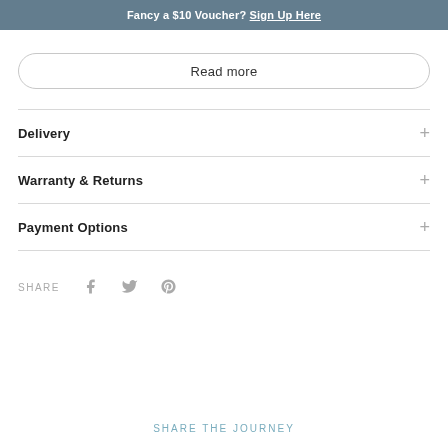Fancy a $10 Voucher? Sign Up Here
Read more
Delivery
Warranty & Returns
Payment Options
SHARE
SHARE THE JOURNEY